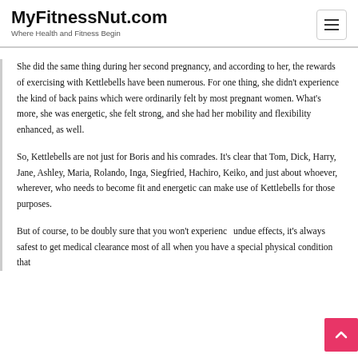MyFitnessNut.com
Where Health and Fitness Begin
She did the same thing during her second pregnancy, and according to her, the rewards of exercising with Kettlebells have been numerous. For one thing, she didn't experience the kind of back pains which were ordinarily felt by most pregnant women. What's more, she was energetic, she felt strong, and she had her mobility and flexibility enhanced, as well.
So, Kettlebells are not just for Boris and his comrades. It's clear that Tom, Dick, Harry, Jane, Ashley, Maria, Rolando, Inga, Siegfried, Hachiro, Keiko, and just about whoever, wherever, who needs to become fit and energetic can make use of Kettlebells for those purposes.
But of course, to be doubly sure that you won't experience undue effects, it's always safest to get medical clearance most of all when you have a special physical condition that